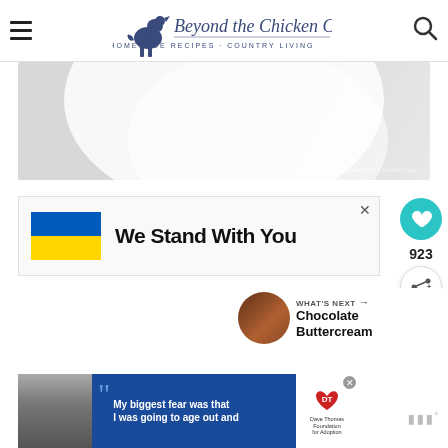Beyond the Chicken Coop — Homemade Recipes · Country Living
[Figure (photo): Close-up photo of a white ceramic plate on a marble surface, with 'Beyond the Chicken Coop' watermark in lower right]
[Figure (infographic): Advertisement banner with Ukrainian flag (blue and yellow) and bold text 'We Stand With You']
[Figure (infographic): Social sidebar with teal heart button, count 923, and share icon]
[Figure (infographic): What's Next panel with chocolate-frosted cake thumbnail and text 'Chocolate Buttercream']
[Figure (infographic): Bottom advertisement for Dave Thomas Foundation for Adoption with quote 'My biggest fear was that I was going to age out and']